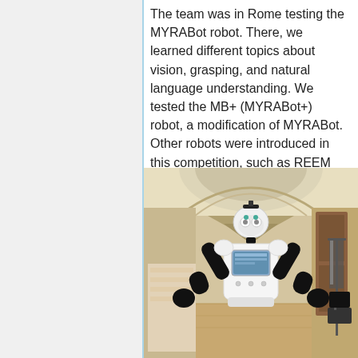The team was in Rome testing the MYRABot robot. There, we learned different topics about vision, grasping, and natural language understanding. We tested the MB+ (MYRABot+) robot, a modification of MYRABot. Other robots were introduced in this competition, such as REEM from PAL Robotics.
[Figure (photo): A humanoid robot (MYRABot) standing in an ornate corridor with arched ceilings, facing the camera with arms raised. The robot has a white and black body with a screen on its chest. A person in a striped shirt is visible on the left, and a clothing rack is visible on the right.]